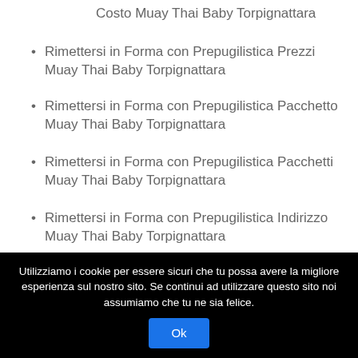Costo Muay Thai Baby Torpignattara
Rimettersi in Forma con Prepugilistica Prezzi Muay Thai Baby Torpignattara
Rimettersi in Forma con Prepugilistica Pacchetto Muay Thai Baby Torpignattara
Rimettersi in Forma con Prepugilistica Pacchetti Muay Thai Baby Torpignattara
Rimettersi in Forma con Prepugilistica Indirizzo Muay Thai Baby Torpignattara
Rimettersi in Forma con Prepugilistica Area Pesi Muay Thai Baby Torpignattara
Rimettersi in Forma con Prepugilistica Ring Muay Thai Baby Torpignattara
Utilizziamo i cookie per essere sicuri che tu possa avere la migliore esperienza sul nostro sito. Se continui ad utilizzare questo sito noi assumiamo che tu ne sia felice.